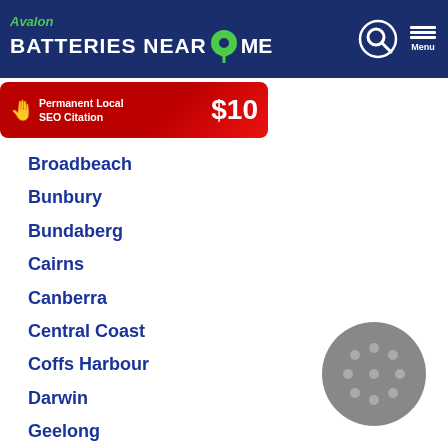Avalon Batteries Near Me
[Figure (screenshot): Red advertisement banner: 'Permanent Local SEO Citation $10']
Broadbeach
Bunbury
Bundaberg
Cairns
Canberra
Central Coast
Coffs Harbour
Darwin
Geelong
Gold Coast
Hervey Bay
Hobart
[Figure (illustration): Gray circular sanding pad / disk with holes]